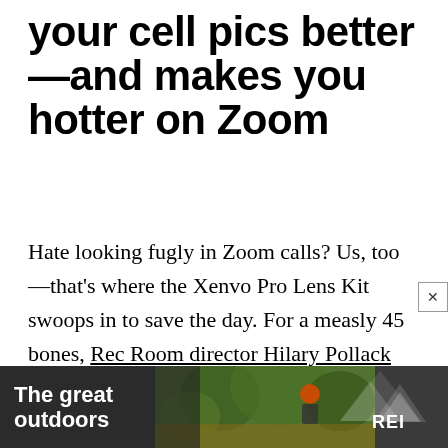Xenvo 3-in-1 Lens Kit makes your cell pics better—and makes you hotter on Zoom
Hate looking fugly in Zoom calls? Us, too—that's where the Xenvo Pro Lens Kit swoops in to save the day. For a measly 45 bones, Rec Room director Hilary Pollack grabbed this clip-on lens that not only makes you look better on video calls (several people in the VICE office use it now!), but also doubles as a wide angle and macro lens for shooting high-quality photos on
[Figure (photo): Advertisement banner for REI showing outdoor scene with cyclist wearing orange helmet and trees in background. Text reads 'The great outdoors' with REI Co-op logo.]